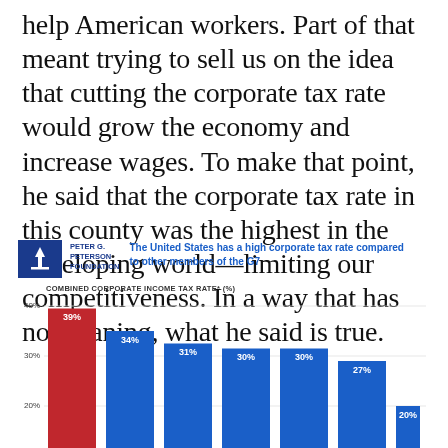help American workers. Part of that meant trying to sell us on the idea that cutting the corporate tax rate would grow the economy and increase wages. To make that point, he said that the corporate tax rate in this county was the highest in the developing world—limiting our competitiveness. In a way that has no meaning, what he said is true.
[Figure (bar-chart): The United States has a high corporate tax rate compared to other members of the G7]